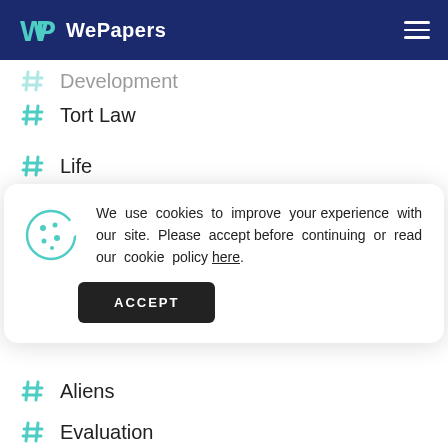WePapers
# Development
# Tort Law
# Life
We use cookies to improve your experience with our site. Please accept before continuing or read our cookie policy here.
# Aliens
# Evaluation